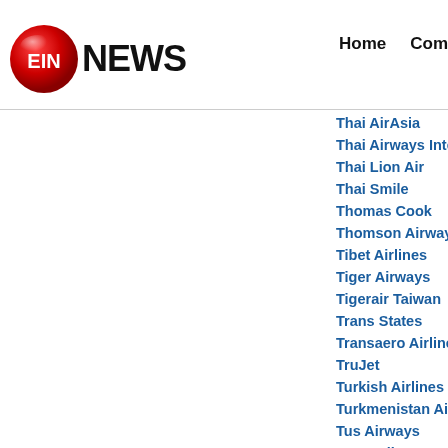EIN NEWS | Home | Com...
Thai AirAsia
Thai Airways Internat...
Thai Lion Air
Thai Smile
Thomas Cook
Thomson Airways
Tibet Airlines
Tiger Airways
Tigerair Taiwan
Trans States
Transaero Airlines
TruJet
Turkish Airlines
Turkmenistan Airlines
Tus Airways
U.S. Helicopter
UAL Corporation
US Airways
USA3000